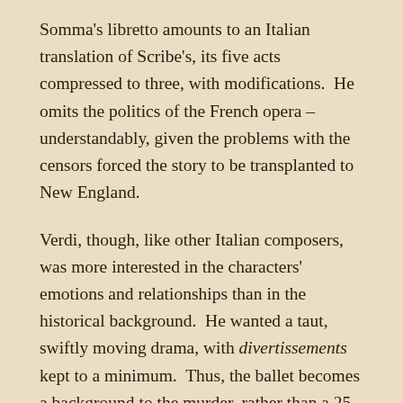Somma's libretto amounts to an Italian translation of Scribe's, its five acts compressed to three, with modifications.  He omits the politics of the French opera – understandably, given the problems with the censors forced the story to be transplanted to New England.
Verdi, though, like other Italian composers, was more interested in the characters' emotions and relationships than in the historical background.  He wanted a taut, swiftly moving drama, with divertissements kept to a minimum.  Thus, the ballet becomes a background to the murder, rather than a 25-minute ballet, a spectacular end in itself.
Ballo is in some ways a spiritual successor to Rigoletto.  Both are about a capricious tenor